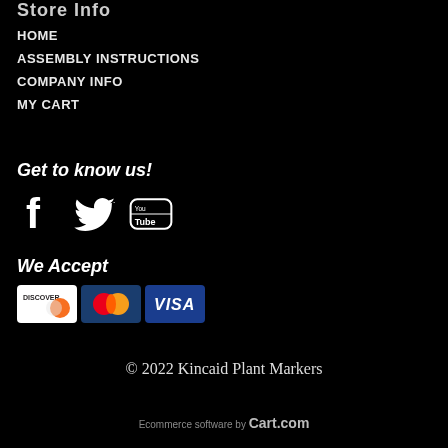Store Info
HOME
ASSEMBLY INSTRUCTIONS
COMPANY INFO
MY CART
Get to know us!
[Figure (illustration): Social media icons: Facebook, Twitter, YouTube]
We Accept
[Figure (illustration): Payment method icons: Discover, Mastercard, Visa]
© 2022 Kincaid Plant Markers
Ecommerce software by Cart.com